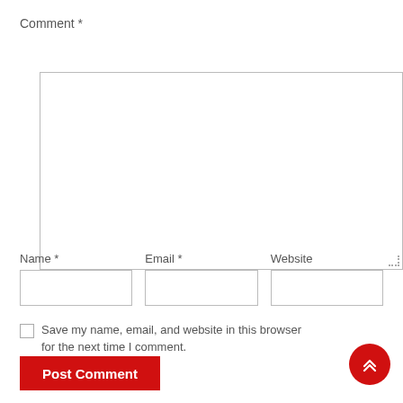Comment *
[Figure (other): Large empty comment textarea with resize handle at bottom-right]
Name *
[Figure (other): Name input field]
Email *
[Figure (other): Email input field]
Website
[Figure (other): Website input field]
Save my name, email, and website in this browser for the next time I comment.
Post Comment